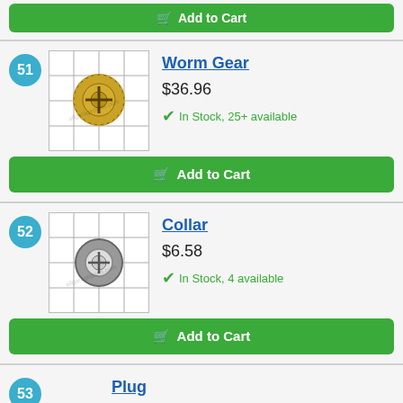[Figure (other): Green 'Add to Cart' button at top of page (partial, from previous product listing)]
51
[Figure (photo): Photo of a brass worm gear part on a white grid background]
Worm Gear
$36.96
In Stock, 25+ available
[Figure (other): Green 'Add to Cart' button for Worm Gear item]
52
[Figure (photo): Photo of a metal collar part on a white grid background]
Collar
$6.58
In Stock, 4 available
[Figure (other): Green 'Add to Cart' button for Collar item]
53
Plug